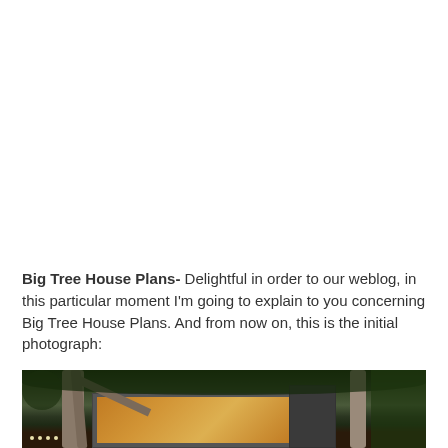Big Tree House Plans- Delightful in order to our weblog, in this particular moment I'm going to explain to you concerning Big Tree House Plans. And from now on, this is the initial photograph:
[Figure (photo): Photograph of a modern treehouse structure with warm glowing windows, surrounded by large trees with branches overhead, photographed at dusk or evening.]